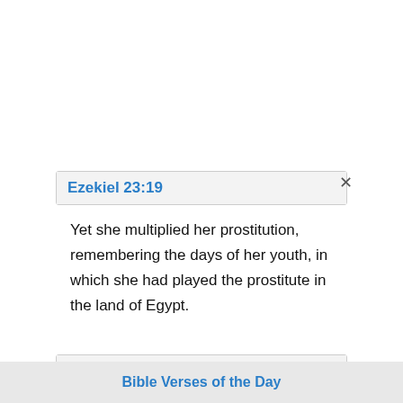Ezekiel 23:19
Yet she multiplied her prostitution, remembering the days of her youth, in which she had played the prostitute in the land of Egypt.
Ezekiel 23:30
These things shall be done to you, because you have played the prostitute after the nations, and because you are polluted with their idols.
Bible Verses of the Day